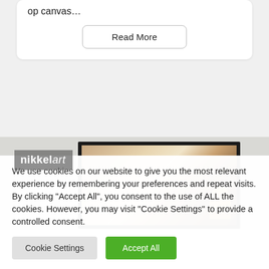op canvas…
Read More
[Figure (photo): Nikkel Art branded framed photo print showing a draped fabric and gold decorative object, displayed in a black frame against a light grey background.]
We use cookies on our website to give you the most relevant experience by remembering your preferences and repeat visits. By clicking "Accept All", you consent to the use of ALL the cookies. However, you may visit "Cookie Settings" to provide a controlled consent.
Cookie Settings
Accept All